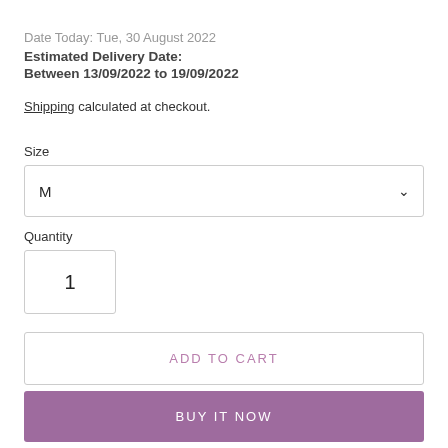Date Today: Tue, 30 August 2022
Estimated Delivery Date:
Between 13/09/2022 to 19/09/2022
Shipping calculated at checkout.
Size
M
Quantity
1
ADD TO CART
BUY IT NOW